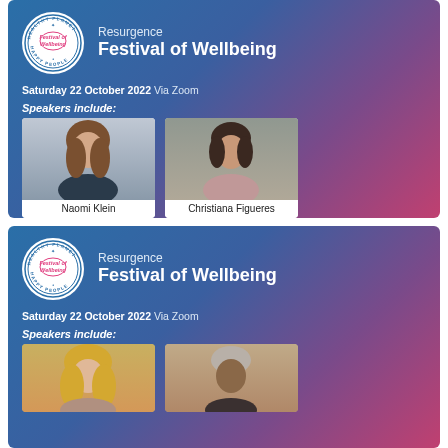[Figure (infographic): Top advertisement card for Resurgence Festival of Wellbeing, Saturday 22 October 2022 Via Zoom. Features logo, title, date, speakers Naomi Klein and Christiana Figueres, and text '...and many more']
[Figure (infographic): Bottom advertisement card for Resurgence Festival of Wellbeing, Saturday 22 October 2022 Via Zoom. Features logo, title, date, Speakers include label, and two partially visible speaker photos (blonde woman and older man).]